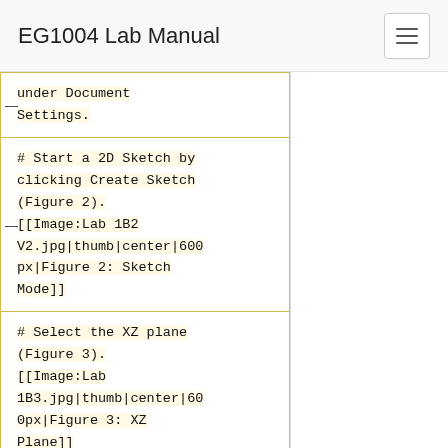EG1004 Lab Manual
under Document Settings.
# Start a 2D Sketch by clicking Create Sketch (Figure 2).
[[Image:Lab 1B2 V2.jpg|thumb|center|600px|Figure 2: Sketch Mode]]
# Select the XZ plane (Figure 3).
[[Image:Lab 1B3.jpg|thumb|center|600px|Figure 3: XZ Plane]]
# Select the 2-Point Rectangle from the Sketch section of the